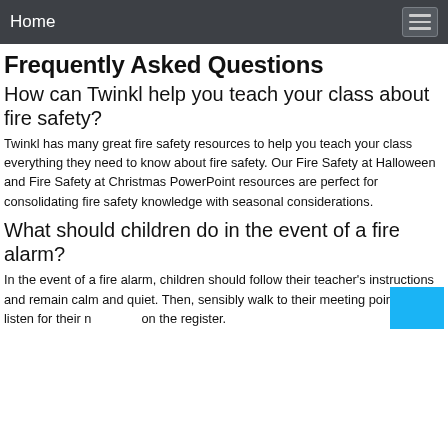Home
Frequently Asked Questions
How can Twinkl help you teach your class about fire safety?
Twinkl has many great fire safety resources to help you teach your class everything they need to know about fire safety. Our Fire Safety at Halloween and Fire Safety at Christmas PowerPoint resources are perfect for consolidating fire safety knowledge with seasonal considerations.
What should children do in the event of a fire alarm?
In the event of a fire alarm, children should follow their teacher's instructions and remain calm and quiet. Then, sensibly walk to their meeting point and listen for their n on the register.